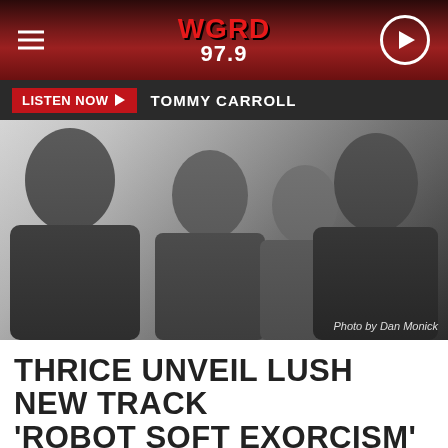WGRD 97.9
LISTEN NOW  TOMMY CARROLL
[Figure (photo): Black and white promotional photo of four band members (Thrice). Photo credit: Photo by Dan Monick]
Photo by Dan Monick
THRICE UNVEIL LUSH NEW TRACK 'ROBOT SOFT EXORCISM'